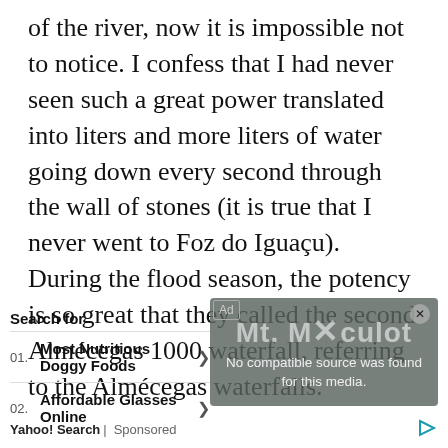of the river, now it is impossible not to notice. I confess that I had never seen such a great power translated into liters and more liters of water going down every second through the wall of stones (it is true that I never went to Foz do Iguaçu). During the flood season, the potency is so great that they called the second Almécegas 1000 waterfall, referring to the Almécegas waterfalls.
[Figure (screenshot): Ad overlay showing 'No compatible source was found for this media.' with Mt. Miculot background image and close button]
Search for
01. Most Nutritious Doggy Foods >
02. Affordable Glasses Online >
Yahoo! Search | Sponsored